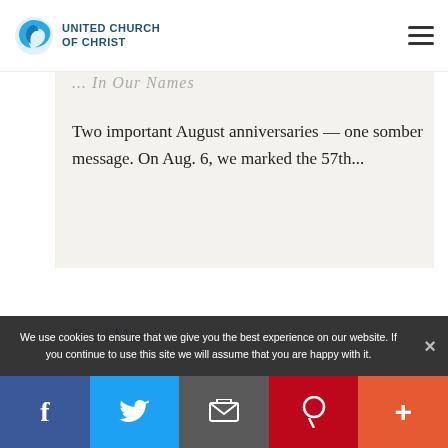UNITED CHURCH OF CHRIST
Two important August anniversaries — one somber message. On Aug. 6, we marked the 57th...
Read More
We use cookies to ensure that we give you the best experience on our website. If you continue to use this site we will assume that you are happy with it.